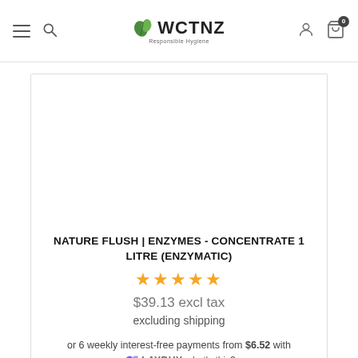WCTNZ — Responsible Hygiene (navigation bar with hamburger, search, logo, user icon, cart)
[Figure (screenshot): Product image area (white/empty product image placeholder)]
NATURE FLUSH | ENZYMES - CONCENTRATE 1 LITRE (ENZYMATIC)
★★★★★ (5-star rating)
$39.13 excl tax
excluding shipping
or 6 weekly interest-free payments from $6.52 with laybuy what's this?